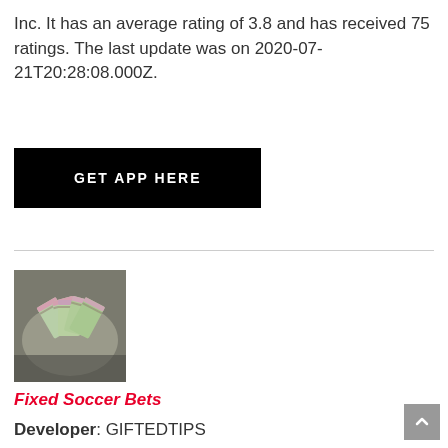Inc. It has an average rating of 3.8 and has received 75 ratings. The last update was on 2020-07-21T20:28:08.000Z.
[Figure (other): Black button with white uppercase text reading GET APP HERE]
[Figure (photo): Photo of stacks of US dollar bills arranged in a circular/fan pattern on a surface]
Fixed Soccer Bets
Developer: GIFTEDTIPS